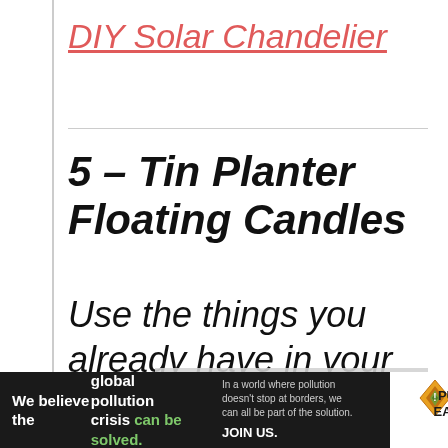DIY Solar Chandelier
5 – Tin Planter Floating Candles
Use the things you already have in your garden to put
mpatible software was found media.
[Figure (infographic): Pure Earth advertisement banner: 'We believe the global pollution crisis can be solved.' with Pure Earth logo]